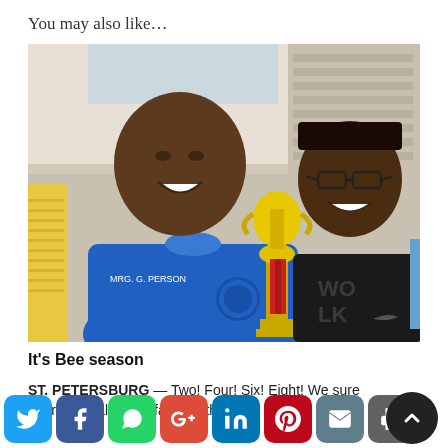You may also like…
[Figure (photo): Two people posing with a trophy. An adult male wearing a blue polo shirt with text 'MRG. G. PERSON' and a school logo smiles next to a young boy wearing glasses and a black shirt. The boy holds a gold trophy with red ribbon.]
It's Bee season
ST. PETERSBURG — Two! Four! Six! Eight! We sure appreciate all of the families that...